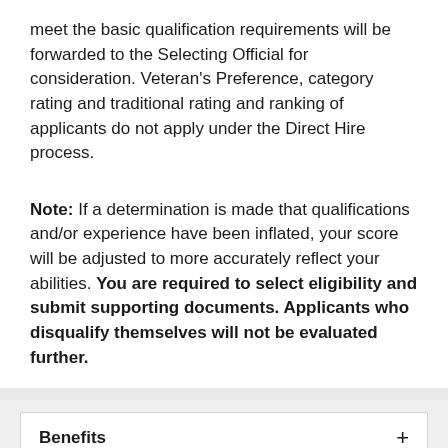meet the basic qualification requirements will be forwarded to the Selecting Official for consideration. Veteran's Preference, category rating and traditional rating and ranking of applicants do not apply under the Direct Hire process.
Note: If a determination is made that qualifications and/or experience have been inflated, your score will be adjusted to more accurately reflect your abilities. You are required to select eligibility and submit supporting documents. Applicants who disqualify themselves will not be evaluated further.
Benefits
Required Documents